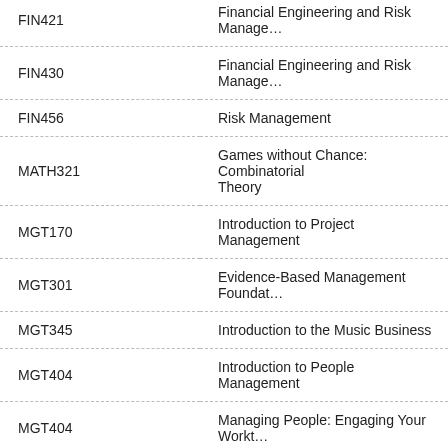| Course Code | Course Name |
| --- | --- |
| FIN421 | Financial Engineering and Risk Manage… |
| FIN430 | Financial Engineering and Risk Manage… |
| FIN456 | Risk Management |
| MATH321 | Games without Chance: Combinatorial Theory |
| MGT170 | Introduction to Project Management |
| MGT301 | Evidence-Based Management Foundat… |
| MGT345 | Introduction to the Music Business |
| MGT404 | Introduction to People Management |
| MGT404 | Managing People: Engaging Your Workt… |
| MGT410 | Principles of Project Management |